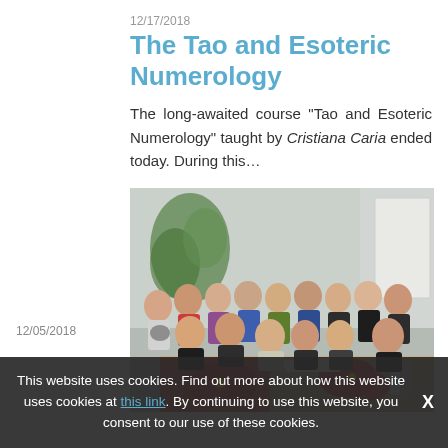12/17/2018
The Tao and Esoteric Numerology
The long-awaited course "Tao and Esoteric Numerology" taught by Cristiana Caria ended today. During this…
[Figure (photo): Group photo of approximately 18 people, likely course participants and instructor, gathered around a table decorated with red poinsettia flowers in what appears to be a classroom or meeting room setting.]
This website uses cookies. Find out more about how this website uses cookies at this link. By continuing to use this website, you consent to our use of these cookies.
12/05/2018